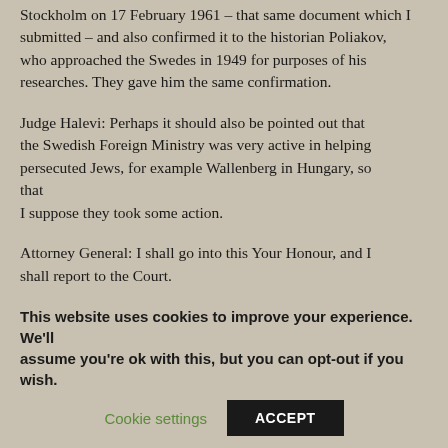Stockholm on 17 February 1961 – that same document which I submitted – and also confirmed it to the historian Poliakov, who approached the Swedes in 1949 for purposes of his researches. They gave him the same confirmation.
Judge Halevi: Perhaps it should also be pointed out that the Swedish Foreign Ministry was very active in helping persecuted Jews, for example Wallenberg in Hungary, so that I suppose they took some action.
Attorney General: I shall go into this Your Honour, and I shall report to the Court.
This website uses cookies to improve your experience. We'll assume you're ok with this, but you can opt-out if you wish.